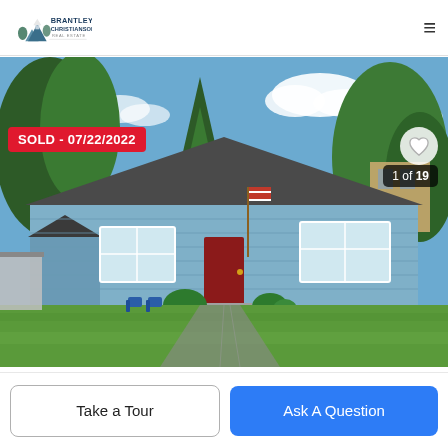[Figure (logo): Brantley Christianson Real Estate logo with mountain/house graphic]
[Figure (photo): Exterior photo of a single-story blue ranch house with red door, American flag, large front lawn, trees in background. Tagged SOLD 07/22/2022. Image counter shows 1 of 19.]
SOLD - 07/22/2022
1 of 19
Take a Tour
Ask A Question